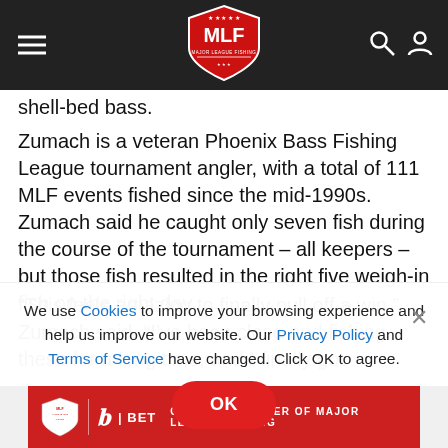MLF Major League Fishing navigation bar
shell-bed bass.
Zumach is a veteran Phoenix Bass Fishing League tournament angler, with a total of 111 MLF events fished since the mid-1990s. Zumach said he caught only seven fish during the course of the tournament – all keepers – but those fish resulted in the right five weigh-in fish on the right day.
“This feels amazing to finally pull off a win,” Zumach said. “I’ve been close and fishing these for a long time, and I finally got
We use Cookies to improve your browsing experience and help us improve our website. Our Privacy Policy and Terms of Service have changed. Click OK to agree.
[Figure (logo): Bally Bet official partner of Major League Fishing ad banner]